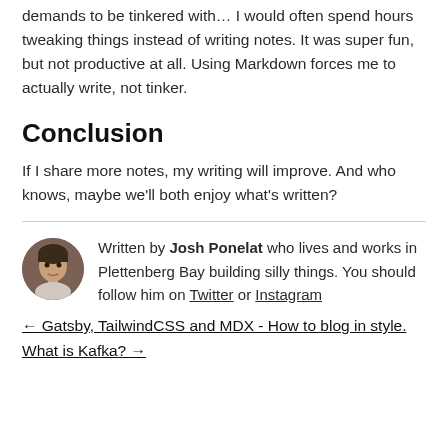demands to be tinkered with... I would often spend hours tweaking things instead of writing notes. It was super fun, but not productive at all. Using Markdown forces me to actually write, not tinker.
Conclusion
If I share more notes, my writing will improve. And who knows, maybe we'll both enjoy what's written?
Written by Josh Ponelat who lives and works in Plettenberg Bay building silly things. You should follow him on Twitter or Instagram
← Gatsby, TailwindCSS and MDX - How to blog in style.
What is Kafka? →